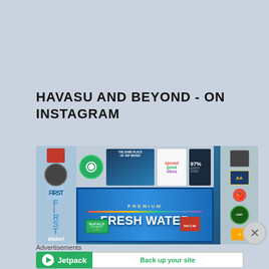HAVASU AND BEYOND - ON INSTAGRAM
[Figure (photo): Photo of a water vending machine covered in stickers. Central blue panel reads 'PREMIUM FRESH WATER'. Stickers include 'spread good vibes', 'Buffalo' branding, '97% EARTH UNDR...' and various other decorative stickers.]
Advertisements
[Figure (infographic): Jetpack advertisement banner with green left section showing Jetpack logo and name, and white right section with 'Back up your site' call-to-action button.]